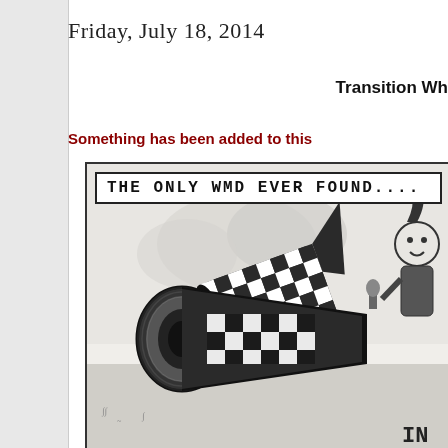Friday, July 18, 2014
Transition Wh
Something has been added to this
[Figure (illustration): Political cartoon showing a large missile or bomb with a checkerboard pattern and a figure holding a torch or item. Banner text reads: THE ONLY WMD EVER FOUND.... with partial text IN at bottom right.]